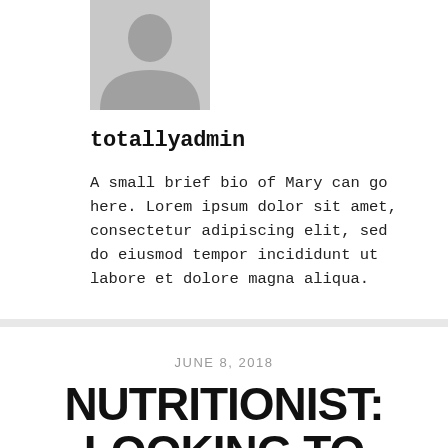[Figure (photo): Gray placeholder avatar/profile image silhouette]
totallyadmin
A small brief bio of Mary can go here. Lorem ipsum dolor sit amet, consectetur adipiscing elit, sed do eiusmod tempor incididunt ut labore et dolore magna aliqua.
JUNE 8, 2018
NUTRITIONIST: LOOKING TO LOSE WEIGHT FOR SUMMER? TRY